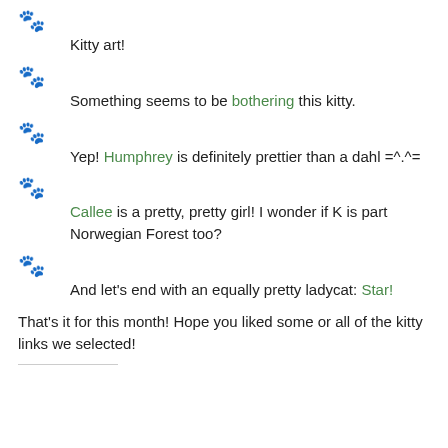🐾 Kitty art!
🐾 Something seems to be bothering this kitty.
🐾 Yep! Humphrey is definitely prettier than a dahl =^.^=
🐾 Callee is a pretty, pretty girl! I wonder if K is part Norwegian Forest too?
🐾 And let's end with an equally pretty ladycat: Star!
That's it for this month! Hope you liked some or all of the kitty links we selected!